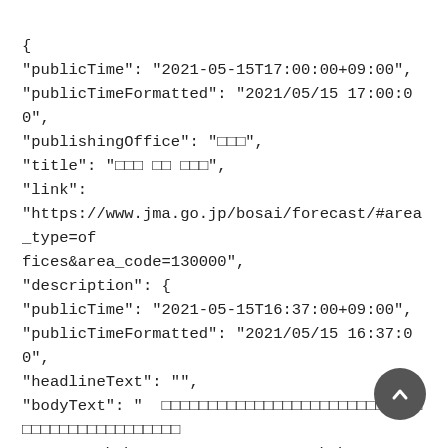{
"publicTime": "2021-05-15T17:00:00+09:00",
"publicTimeFormatted": "2021/05/15 17:00:00",
"publishingOffice": "□□□",
"title": "□□□ □□ □□□",
"link":
"https://www.jma.go.jp/bosai/forecast/#area_type=offices&area_code=130000",
"description": {
"publicTime": "2021-05-15T16:37:00+09:00",
"publicTimeFormatted": "2021/05/15 16:37:00",
"headlineText": "",
"bodyText": " □□□□□□□□□□□□□□□□□□□□□□□□□□□□□□□□□□□□□□□□□□□□□□□□□□□□□□□□\n\n □□□□□□□□□\n\n □□□□□□□□□□□□□□□□□\n\n □□□□□□□□□□□□□□□□□□□□□□□□□□□□□□□□□□□□□□□□\n\n □□□□□□□□□□□